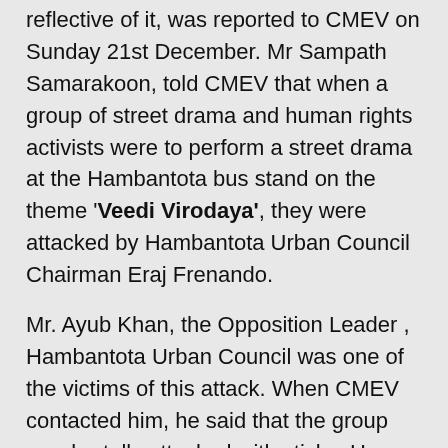reflective of it, was reported to CMEV on Sunday 21st December. Mr Sampath Samarakoon, told CMEV that when a group of street drama and human rights activists were to perform a street drama at the Hambantota bus stand on the theme 'Veedi Virodaya', they were attacked by Hambantota Urban Council Chairman Eraj Frenando.
Mr. Ayub Khan, the Opposition Leader , Hambantota Urban Council was one of the victims of this attack. When CMEV contacted him, he said that the group was brutally attacked with sticks. He also said that they had informed the Police regarding their street drama and further, that the Police had not taken any statement from the victims.
When CMEV contacted Mr.Eraj Fernanado, he said that at around 9.45 AM he had gone to the Hambantota town and that whilst he was waiting for his secretary he had encountered Mr. Khan and inquired from him